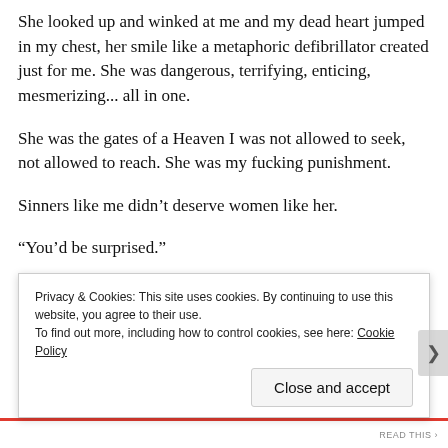She looked up and winked at me and my dead heart jumped in my chest, her smile like a metaphoric defibrillator created just for me. She was dangerous, terrifying, enticing, mesmerizing... all in one.
She was the gates of a Heaven I was not allowed to seek, not allowed to reach. She was my fucking punishment.
Sinners like me didn't deserve women like her.
“You’d be surprised.”
“Not that much actually,” she replied evasively, and I couldn’t
help but wonder what kind of trash she found online
Privacy & Cookies: This site uses cookies. By continuing to use this website, you agree to their use.
To find out more, including how to control cookies, see here: Cookie Policy
Close and accept